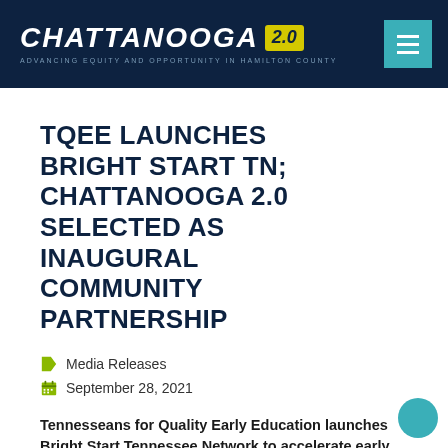CHATTANOOGA 2.0 — ADVANCING EQUITY AND OPPORTUNITY IN HAMILTON COUNTY
TQEE LAUNCHES BRIGHT START TN; CHATTANOOGA 2.0 SELECTED AS INAUGURAL COMMUNITY PARTNERSHIP
Media Releases
September 28, 2021
Tennesseans for Quality Early Education launches Bright Start Tennessee Network to accelerate early learning